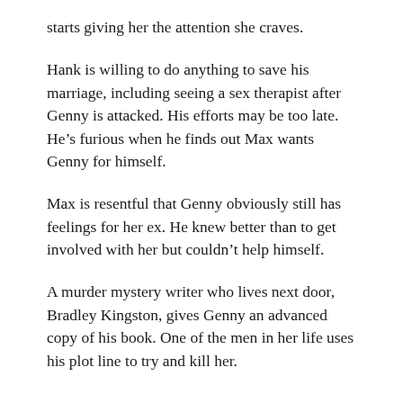starts giving her the attention she craves.
Hank is willing to do anything to save his marriage, including seeing a sex therapist after Genny is attacked. His efforts may be too late. He’s furious when he finds out Max wants Genny for himself.
Max is resentful that Genny obviously still has feelings for her ex. He knew better than to get involved with her but couldn’t help himself.
A murder mystery writer who lives next door, Bradley Kingston, gives Genny an advanced copy of his book. One of the men in her life uses his plot line to try and kill her.